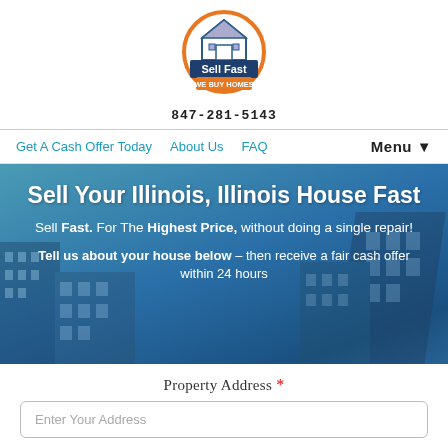[Figure (logo): Sell Fast We Buy Homes logo — circular orange border with house icon and dark blue banner reading 'Sell Fast' and 'WE BUY HOMES']
847-281-5143
Get A Cash Offer Today   About Us   FAQ   Menu ▼
Sell Your Illinois, Illinois House Fast
Sell Fast. For The Highest Price, without doing a single repair!
Tell us about your house below – then receive a fair cash offer within 24 hours
Property Address *
Enter Your Address